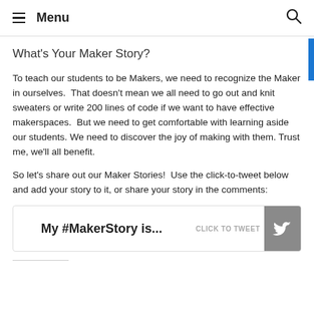Menu
What's Your Maker Story?
To teach our students to be Makers, we need to recognize the Maker in ourselves.  That doesn't mean we all need to go out and knit sweaters or write 200 lines of code if we want to have effective makerspaces.  But we need to get comfortable with learning aside our students. We need to discover the joy of making with them. Trust me, we'll all benefit.
So let's share out our Maker Stories!  Use the click-to-tweet below and add your story to it, or share your story in the comments:
[Figure (other): Click-to-tweet box with text 'My #MakerStory is...' and a Twitter bird button labeled 'CLICK TO TWEET']